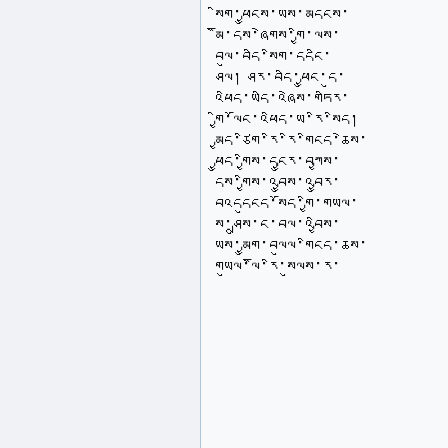སིག་ཕྱུངས་ཡས་མདངས་
མོི་དས་ཞེགས་གྱི་ལས་
བལུ་བདི་སིག་དདངི་
ཤལ། ཤར་བདི་ཕྱུང་དུ་
འཕིད་ཡདི་འཞེས་གཏིར་
གྱི་ལོང་འཕིད་ཡ་རི་སིད།
མྱད་ཙིག་རི་རི་གིངད་ཆེས་
ཕྱུད་གྱིས་དངྱུར་བཀྱས་
དས་གྱིས་འབྱུས་འབྱུར་
བའདདུངད་སོད་གྱི་གཡལ་
ས་ཤྲུས་ང་བལ་འབྱིས་
ཡས་མྱུག་བལུལ་གིངད་ཆས་
གཡུལ་ལོི་རི་སུལས་ར་